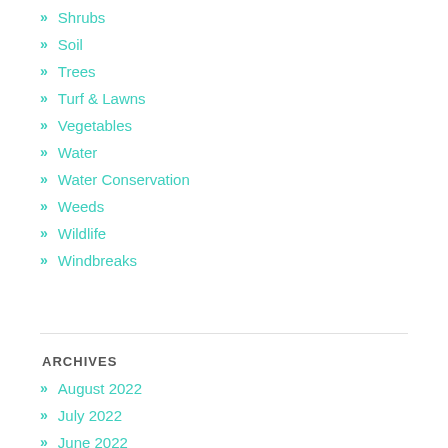Shrubs
Soil
Trees
Turf & Lawns
Vegetables
Water
Water Conservation
Weeds
Wildlife
Windbreaks
ARCHIVES
August 2022
July 2022
June 2022